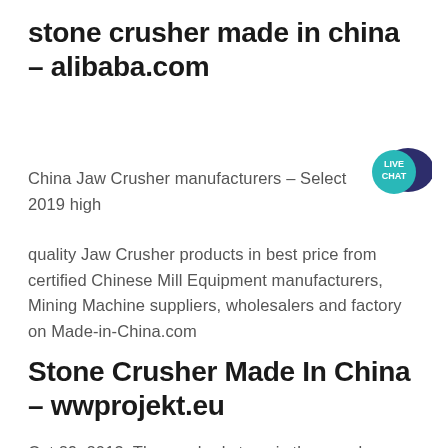stone crusher made in china - alibaba.com
[Figure (illustration): Live Chat badge — teal bubble with white text 'LIVE CHAT' and dark blue speech bubble icon]
China Jaw Crusher manufacturers - Select 2019 high quality Jaw Crusher products in best price from certified Chinese Mill Equipment manufacturers, Mining Machine suppliers, wholesalers and factory on Made-in-China.com
Stone Crusher Made In China - wwprojekt.eu
Oct 29, 2013· The crushed stone is then made use of as raw material for many construction activities i.e. construction of roads, bridges, buildings and canals. Numerous projects are in progress and are